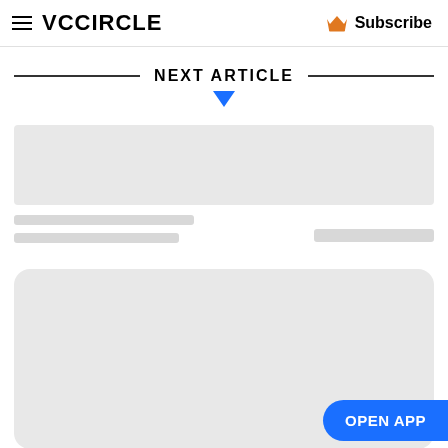VCCiRCLE  Subscribe
NEXT ARTICLE
[Figure (screenshot): Loading skeleton placeholder showing a grey rectangular image area]
Skeleton loading lines placeholder
[Figure (screenshot): Large rounded-corner grey card placeholder area]
OPEN APP